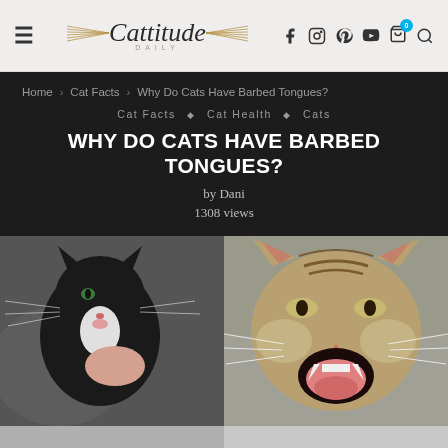Cattitude Daily — navigation header with logo, hamburger menu, and social/search icons
Home > Cat Facts > Why Do Cats Have Barbed Tongues?
Cat Facts ◇ Cat Health ◇ Cats
WHY DO CATS HAVE BARBED TONGUES?
by Dani
1308 views
[Figure (photo): Two cats: left panel shows a black and white cat licking its paw; right panel shows a tabby cat with its mouth open showing teeth/tongue.]